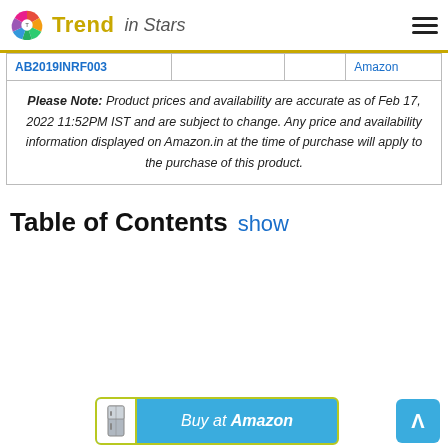Trend in Stars
| AB2019INRF003 |  |  | Amazon |
| --- | --- | --- | --- |
| Please Note: Product prices and availability are accurate as of Feb 17, 2022 11:52PM IST and are subject to change. Any price and availability information displayed on Amazon.in at the time of purchase will apply to the purchase of this product. |  |  |  |
Table of Contents show
[Figure (other): Buy at Amazon button with product image icon and scroll-to-top button]